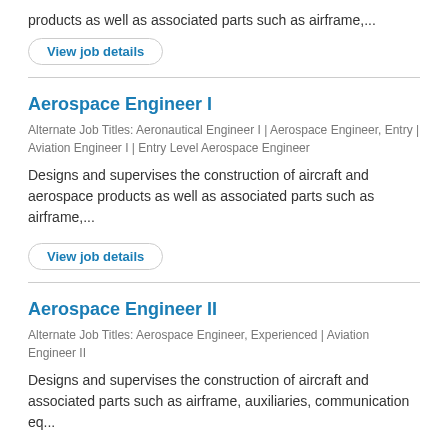products as well as associated parts such as airframe,...
View job details
Aerospace Engineer I
Alternate Job Titles: Aeronautical Engineer I | Aerospace Engineer, Entry | Aviation Engineer I | Entry Level Aerospace Engineer
Designs and supervises the construction of aircraft and aerospace products as well as associated parts such as airframe,...
View job details
Aerospace Engineer II
Alternate Job Titles: Aerospace Engineer, Experienced | Aviation Engineer II
Designs and supervises the construction of aircraft and associated parts such as airframe, auxiliaries, communication eq...
View job details
View More